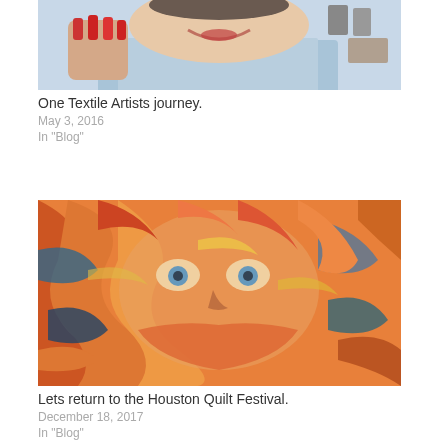[Figure (photo): Close-up photo of a smiling woman with red fingernails and red lipstick, wearing a light blue shirt]
One Textile Artists journey.
May 3, 2016
In "Blog"
[Figure (photo): Close-up photo of a quilt depicting Van Gogh's self-portrait with swirling orange, red, teal, and yellow fabric pieces]
Lets return to the Houston Quilt Festival.
December 18, 2017
In "Blog"